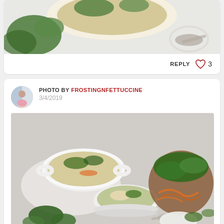[Figure (photo): Top portion of a food photo showing soup bowl with green vegetables and a spoon on white background, partially cropped]
REPLY  ♡ 3
PHOTO BY FROSTINGNFETTUCCINE
3/4/2019
[Figure (photo): Two white ceramic bowls filled with soup containing dumplings, vegetables, and broth, alongside a wooden board with fresh spinach and spiralized carrots, a spoon on a small white plate]
REPLY  ♡ 1